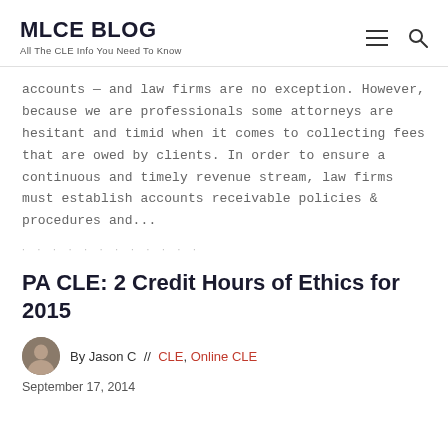MLCE BLOG
All The CLE Info You Need To Know
accounts — and law firms are no exception. However, because we are professionals some attorneys are hesitant and timid when it comes to collecting fees that are owed by clients. In order to ensure a continuous and timely revenue stream, law firms must establish accounts receivable policies & procedures and...
PA CLE: 2 Credit Hours of Ethics for 2015
By Jason C  //  CLE, Online CLE
September 17, 2014